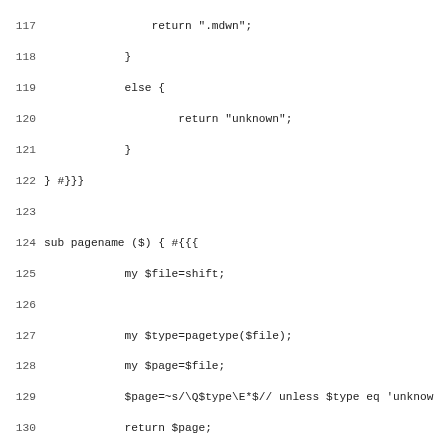Source code listing lines 117–148+, showing Perl subroutines pagename, htmlpage, readfile